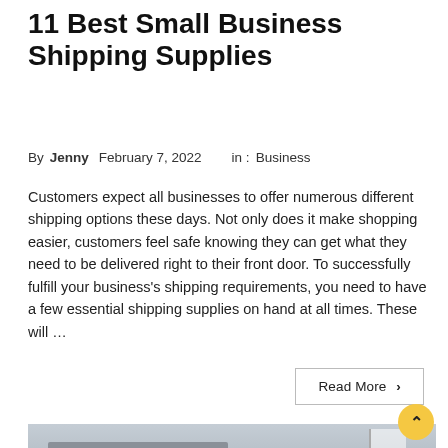11 Best Small Business Shipping Supplies
By Jenny   February 7, 2022      in :  Business
Customers expect all businesses to offer numerous different shipping options these days. Not only does it make shopping easier, customers feel safe knowing they can get what they need to be delivered right to their front door. To successfully fulfill your business's shipping requirements, you need to have a few essential shipping supplies on hand at all times. These will …
Read More ›
[Figure (photo): A man speaking into a microphone in an industrial-style room with large windows and exposed ceiling pipes]